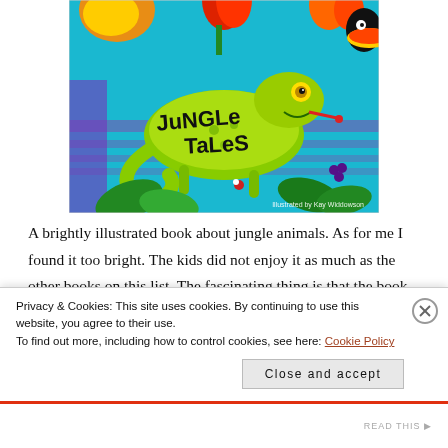[Figure (illustration): Book cover of 'Jungle Tales' illustrated by Kay Widdowson, featuring a colorful cartoon chameleon on a bright jungle background with tropical plants and animals]
A brightly illustrated book about jungle animals. As for me I found it too bright. The kids did not enjoy it as much as the other books on this list. The fascinating thing is that the book pages are not rectangular but rather irregular in shapes. Each
Privacy & Cookies: This site uses cookies. By continuing to use this website, you agree to their use.
To find out more, including how to control cookies, see here: Cookie Policy
Close and accept